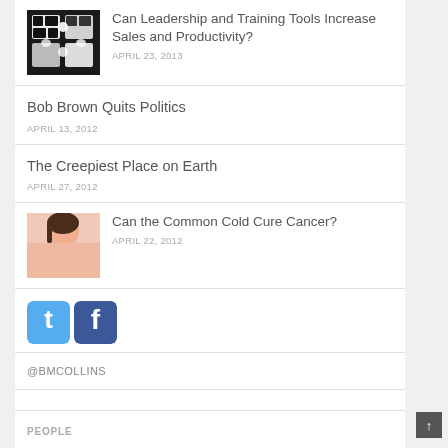[Figure (photo): Black and white puzzle pieces photo thumbnail]
Can Leadership and Training Tools Increase Sales and Productivity?
APRIL 23, 2013
Bob Brown Quits Politics
APRIL 13, 2012
The Creepiest Place on Earth
APRIL 27, 2012
[Figure (photo): Young girl with cold/tissue photo thumbnail]
Can the Common Cold Cure Cancer?
APRIL 22, 2012
[Figure (logo): Twitter and Facebook social media icons]
@BMCOLLINS
PEOPLE